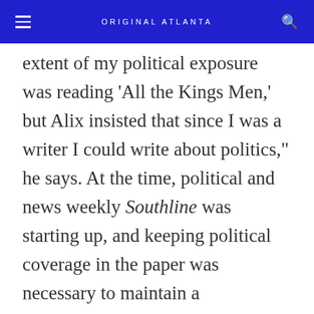ORIGINAL ATLANTA
extent of my political exposure was reading ‘All the Kings Men,’ but Alix insisted that since I was a writer I could write about politics,” he says. At the time, political and news weekly Southline was starting up, and keeping political coverage in the paper was necessary to maintain a competitive advantage. Humphreys arrived right as the Presidential Parkway controversy began so he started there, and continued reporting on its